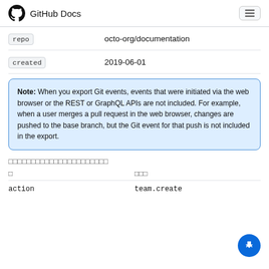GitHub Docs
| repo | octo-org/documentation |
| created | 2019-06-01 |
Note: When you export Git events, events that were initiated via the web browser or the REST or GraphQL APIs are not included. For example, when a user merges a pull request in the web browser, changes are pushed to the base branch, but the Git event for that push is not included in the export.
□□□□□□□□□□□□□□□□□□□□□
| □ | □□□ |
| --- | --- |
| action | team.create |